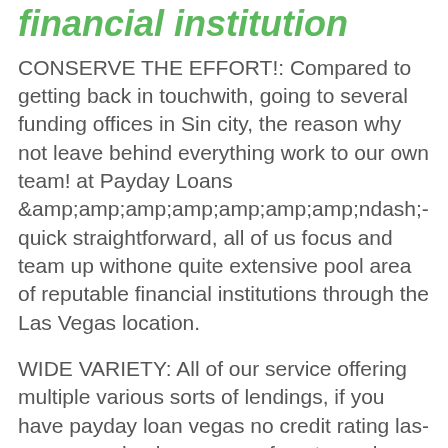financial institution
CONSERVE THE EFFORT!: Compared to getting back in touchwith, going to several funding offices in Sin city, the reason why not leave behind everything work to our own team! at Payday Loans &amp;amp;amp;amp;amp;amp;amp;amp;ndash;-quick straightforward, all of us focus and team up withone quite extensive pool area of reputable financial institutions through the Las Vegas location.
WIDE VARIETY: All of our service offering multiple various sorts of lendings, if you have payday loan vegas no credit rating las-vegas-payday-loan.com safe yet your loan record means that might obtain muchbigger money